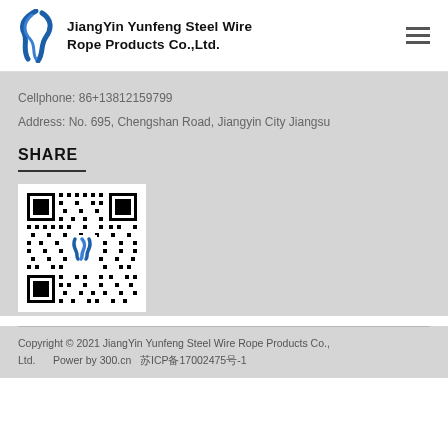JiangYin Yunfeng Steel Wire Rope Products Co.,Ltd.
Cellphone: 86+13812159799
Address: No. 695, Chengshan Road, Jiangyin City Jiangsu
SHARE
[Figure (other): QR code for JiangYin Yunfeng Steel Wire Rope Products Co.,Ltd. with company logo in center]
Copyright © 2021 JiangYin Yunfeng Steel Wire Rope Products Co., Ltd.      Power by 300.cn   苏ICP备17002475号-1